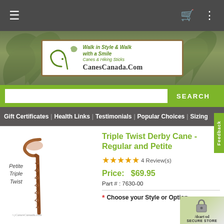[Figure (screenshot): Top navigation bar with hamburger menu icon on left and cart/more icons on right, dark gray background]
[Figure (logo): CanesCanada.Com logo with tagline 'Walk in Style & Walk with a Smile, Canes & Hiking Sticks' on green/brown background with tree silhouette]
[Figure (screenshot): Search bar with white input field and green SEARCH button]
Gift Certificates | Health Links | Testimonials | Popular Choices | Sizing
[Figure (photo): Triple Twist Derby Cane product image showing wooden cane with twisted shaft and derby handle. Label reads 'Petite Triple Twist']
Triple Twist Derby Cane - Regular and Petite
★★★★★ 4 Review(s)
Price:  $69.95
Part # : 7630-00
* Choose your Style or Option
Triple Twist Derby Cane - Regular
Choose your Style or Option